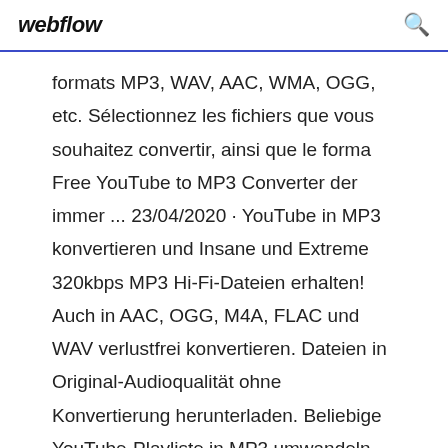webflow
formats MP3, WAV, AAC, WMA, OGG, etc. Sélectionnez les fichiers que vous souhaitez convertir, ainsi que le forma Free YouTube to MP3 Converter der immer ... 23/04/2020 · YouTube in MP3 konvertieren und Insane und Extreme 320kbps MP3 Hi-Fi-Dateien erhalten! Auch in AAC, OGG, M4A, FLAC und WAV verlustfrei konvertieren. Dateien in Original-Audioqualität ohne Konvertierung herunterladen. Beliebige YouTube-Playliste in MP3 umwandeln. Verfügbar für Mac, PC und Android. 100% sauber und sicher. Status von heute. Free YouTube to MP3 Converter funktioniert Télécharger DVDVideoSoft (Free